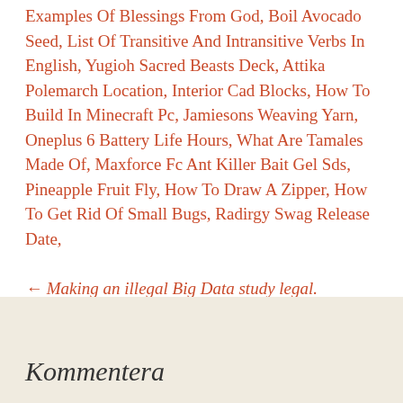Examples Of Blessings From God, Boil Avocado Seed, List Of Transitive And Intransitive Verbs In English, Yugioh Sacred Beasts Deck, Attika Polemarch Location, Interior Cad Blocks, How To Build In Minecraft Pc, Jamiesons Weaving Yarn, Oneplus 6 Battery Life Hours, What Are Tamales Made Of, Maxforce Fc Ant Killer Bait Gel Sds, Pineapple Fruit Fly, How To Draw A Zipper, How To Get Rid Of Small Bugs, Radirgy Swag Release Date,
← Making an illegal Big Data study legal. LifeGene – a Swedish case story
Kommentera